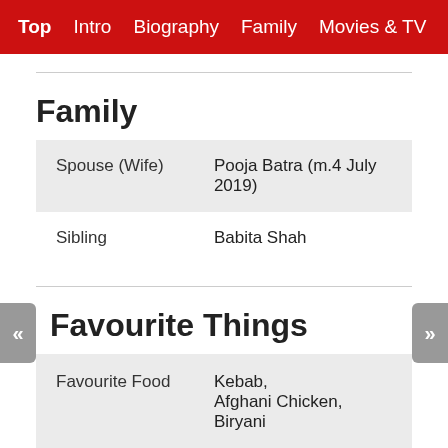Top  Intro  Biography  Family  Movies & TV  Social
Family
| Spouse (Wife) | Pooja Batra (m.4 July 2019) |
| Sibling | Babita Shah |
Favourite Things
| Favourite Food | Kebab,
Afghani Chicken,
Biryani |